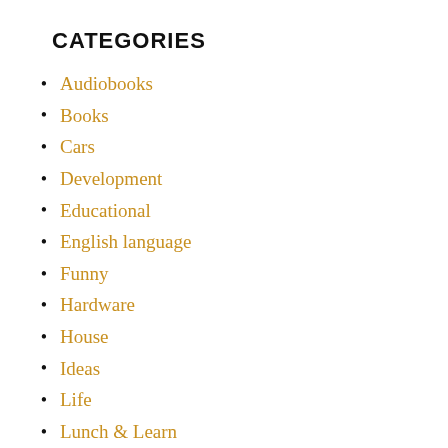CATEGORIES
Audiobooks
Books
Cars
Development
Educational
English language
Funny
Hardware
House
Ideas
Life
Lunch & Learn
Mac OS X Server
My Videos